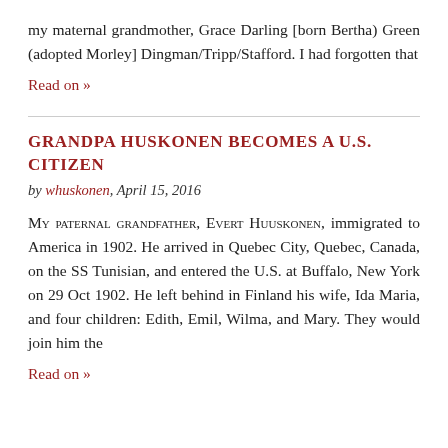my maternal grandmother, Grace Darling [born Bertha) Green (adopted Morley] Dingman/Tripp/Stafford. I had forgotten that
Read on »
GRANDPA HUSKONEN BECOMES A U.S. CITIZEN
by whuskonen, April 15, 2016
My paternal grandfather, Evert Huuskonen, immigrated to America in 1902. He arrived in Quebec City, Quebec, Canada, on the SS Tunisian, and entered the U.S. at Buffalo, New York on 29 Oct 1902. He left behind in Finland his wife, Ida Maria, and four children: Edith, Emil, Wilma, and Mary. They would join him the
Read on »